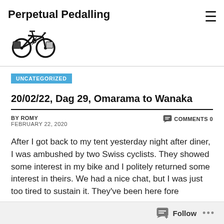Perpetual Pedalling
[Figure (illustration): Black and white illustration of a bicycle with panniers/bags on the rear rack]
UNCATEGORIZED
20/02/22, Dag 29, Omarama to Wanaka
BY ROMY
FEBRUARY 22, 2020
COMMENTS 0
After I got back to my tent yesterday night after diner, I was ambushed by two Swiss cyclists. They showed some interest in my bike and I politely returned some interest in theirs. We had a nice chat, but I was just too tired to sustain it. They've been here fore